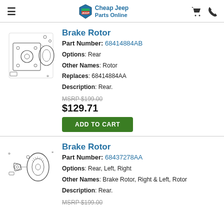Cheap Jeep Parts Online
[Figure (illustration): Exploded diagram of brake rotor assembly parts]
Brake Rotor
Part Number: 68414884AB
Options: Rear
Other Names: Rotor
Replaces: 68414884AA
Description: Rear.
MSRP $199.00
$129.71
ADD TO CART
[Figure (illustration): Brake rotor assembly illustration]
Brake Rotor
Part Number: 68437278AA
Options: Rear, Left, Right
Other Names: Brake Rotor, Right & Left, Rotor
Description: Rear.
MSRP $199.00